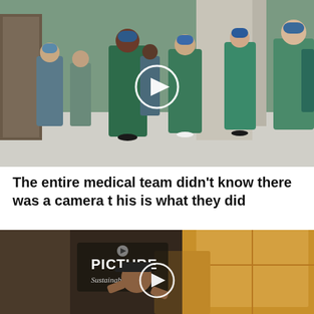[Figure (photo): Hospital corridor with multiple medical staff in green and blue scrubs and surgical caps; a video play button overlay is visible in the center.]
The entire medical team didn't know there was a camera this is what they did
[Figure (photo): Video thumbnail showing a person in a baseball cap reacting to large cardboard boxes, with a 'PICTURE Sustainability' logo overlay and a play button in the center.]